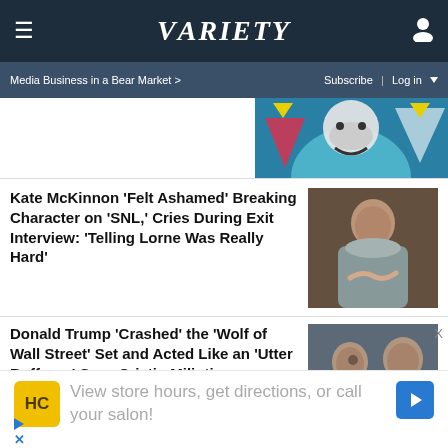VARIETY
Media Business in a Bear Market >
Subscribe | Log in
[Figure (photo): Colorful illustrated graphic with stars and a smiling figure]
Kate McKinnon ‘Felt Ashamed’ Breaking Character on ‘SNL,’ Cries During Exit Interview: ‘Telling Lorne Was Really Hard’
[Figure (photo): Kate McKinnon gesturing while sitting]
Donald Trump ‘Crashed’ the ‘Wolf of Wall Street’ Set and Acted Like an ‘Utter Buffoon,’ Says Cristin Milioti
[Figure (photo): Two men in suits talking, from Wolf of Wall Street]
View store hours, get directions, or call your salon!